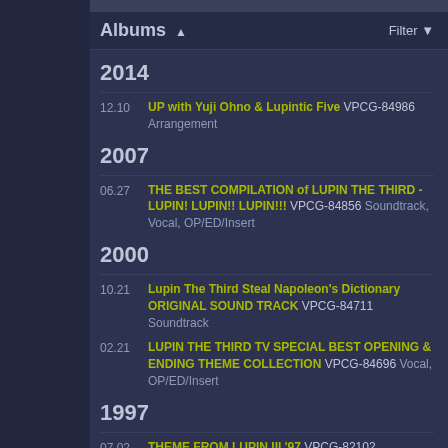Albums ▲   Filter
2014
12.10  UP with Yuji Ohno & Lupintic Five VPCG-84986  Arrangement
2007
06.27  THE BEST COMPILATION of LUPIN THE THIRD - LUPIN! LUPIN!! LUPIN!!! VPCG-84856  Soundtrack, Vocal, OP/ED/Insert
2000
10.21  Lupin The Third Steal Napoleon's Dictionary ORIGINAL SOUND TRACK VPCG-84711  Soundtrack
02.21  LUPIN THE THIRD TV SPECIAL BEST OPENING & ENDING THEME COLLECTION VPCG-84696  Vocal, OP/ED/Insert
1997
07.02  THEME FROM LUPIN III '97 VPCG-82102  Soundtrack
1996
03.01  LUPIN the 3rd '95 OUT TAKES & TV SPECIAL THEME COLLECTION VPCG-84285  Soundtrack, Vocal, OP/ED/Insert